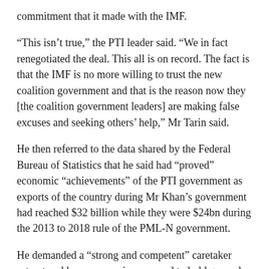commitment that it made with the IMF.
“This isn’t true,” the PTI leader said. “We in fact renegotiated the deal. This all is on record. The fact is that the IMF is no more willing to trust the new coalition government and that is the reason now they [the coalition government leaders] are making false excuses and seeking others’ help,” Mr Tarin said.
He then referred to the data shared by the Federal Bureau of Statistics that he said had “proved” economic “achievements” of the PTI government as exports of the country during Mr Khan’s government had reached $32 billion while they were $24bn during the 2013 to 2018 rule of the PML-N government.
He demanded a “strong and competent” caretaker setup to address economic woes and to hold general elections in the country.